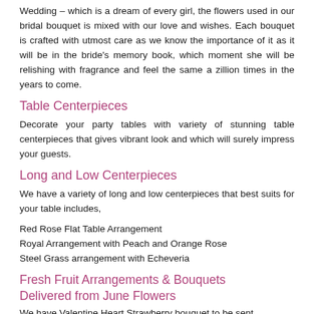Wedding – which is a dream of every girl, the flowers used in our bridal bouquet is mixed with our love and wishes. Each bouquet is crafted with utmost care as we know the importance of it as it will be in the bride's memory book, which moment she will be relishing with fragrance and feel the same a zillion times in the years to come.
Table Centerpieces
Decorate your party tables with variety of stunning table centerpieces that gives vibrant look and which will surely impress your guests.
Long and Low Centerpieces
We have a variety of long and low centerpieces that best suits for your table includes,
Red Rose Flat Table Arrangement
Royal Arrangement with Peach and Orange Rose
Steel Grass arrangement with Echeveria
Fresh Fruit Arrangements & Bouquets Delivered from June Flowers
We have Valentine Heart Strawberry bouquet to be sent